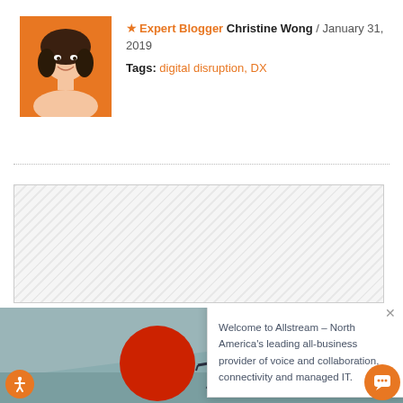[Figure (photo): Headshot photo of Christine Wong, a woman with dark hair, smiling, on an orange background]
★ Expert Blogger Christine Wong / January 31, 2019
Tags: digital disruption, DX
[Figure (other): Hatched/striped gray banner, likely an advertisement placeholder]
[Figure (illustration): Illustration of a person pushing a large red ball up a slope, and another person pushing a red cube, on a teal/gray background. Overlaid with a popup dialog box with an X close button and text: 'Welcome to Allstream – North America's leading all-business provider of voice and collaboration, connectivity and managed IT.']